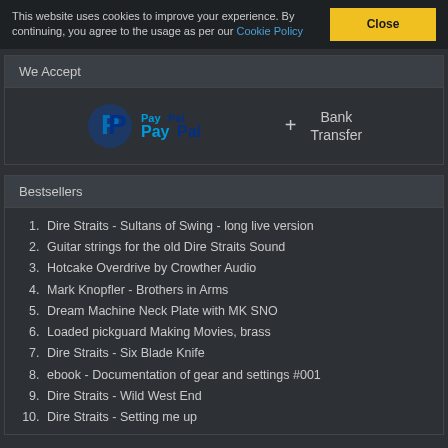This website uses cookies to improve your experience. By continuing, you agree to the usage as per our Cookie Policy   Close
We Accept
[Figure (logo): PayPal logo with 'P' symbol in blue and 'PayPal' text in blue, plus '+' sign and 'Bank Transfer' text]
Bestsellers
Dire Straits - Sultans of Swing - long live version
Guitar strings for the old Dire Straits Sound
Hotcake Overdrive by Crowther Audio
Mark Knopfler - Brothers in Arms
Dream Machine Neck Plate with MK SNO
Loaded pickguard Making Movies, brass
Dire Straits - Six Blade Knife
ebook - Documentation of gear and settings #001
Dire Straits - Wild West End
Dire Straits - Setting me up